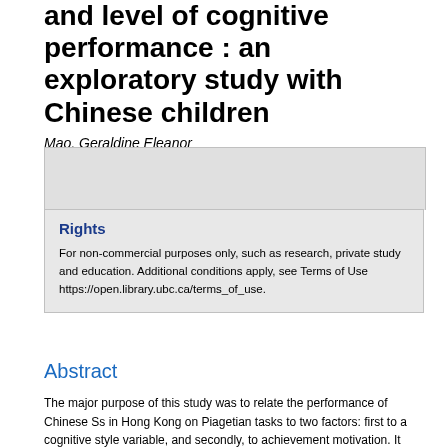and level of cognitive performance : an exploratory study with Chinese children
Mao, Geraldine Eleanor
Rights
For non-commercial purposes only, such as research, private study and education. Additional conditions apply, see Terms of Use https://open.library.ubc.ca/terms_of_use.
Abstract
The major purpose of this study was to relate the performance of Chinese Ss in Hong Kong on Piagetian tasks to two factors: first to a cognitive style variable, and secondly, to achievement motivation. It was hoped that the results from this study would